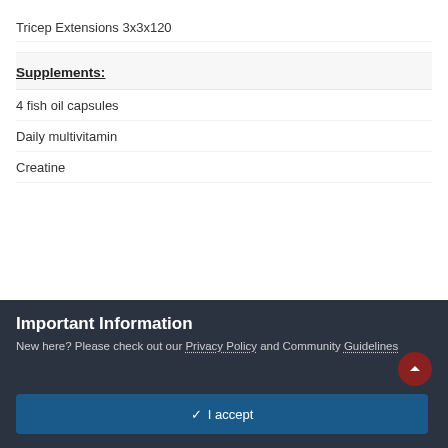Tricep Extensions 3x3x120
Supplements:
4 fish oil capsules
Daily multivitamin
Creatine
Important Information
New here? Please check out our Privacy Policy and Community Guidelines
✓ I accept